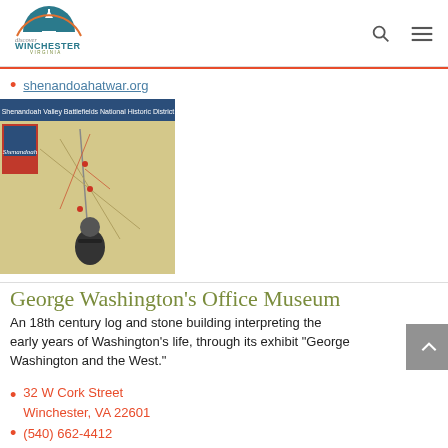Discover Winchester Virginia
shenandoahatwar.org
[Figure (photo): A child looking at a Shenandoah Valley Battlefields National Historic District map display exhibit]
George Washington’s Office Museum
An 18th century log and stone building interpreting the early years of Washington’s life, through its exhibit “George Washington and the West.”
32 W Cork Street
Winchester, VA 22601
(540) 662-4412